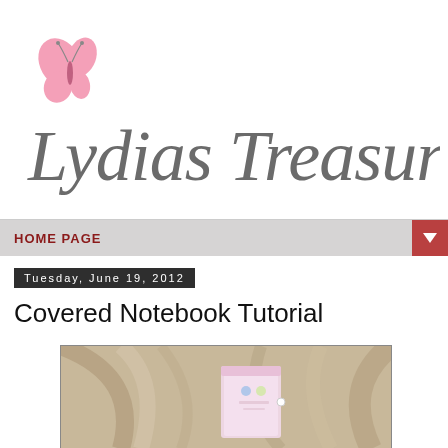[Figure (logo): Lydias Treasures blog logo with pink butterfly and cursive script text]
HOME PAGE
Tuesday, June 19, 2012
Covered Notebook Tutorial
[Figure (photo): Photo of a fabric-covered notebook with decorative trim on a beige linen background]